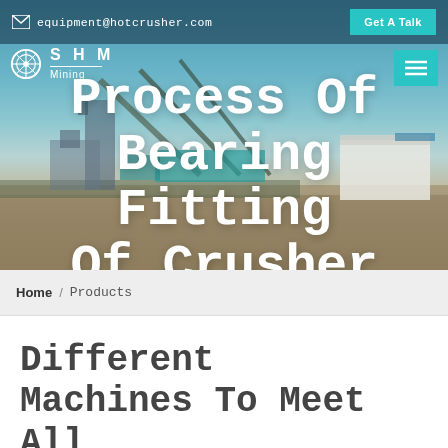equipment@hotcrusher.com   Get A Talk
[Figure (photo): Industrial mining/crushing plant facility with conveyor belts and machinery against a blue sky background]
Process Of Bearing Fitting Of Crusher
Home / Products
Different Machines To Meet All Need